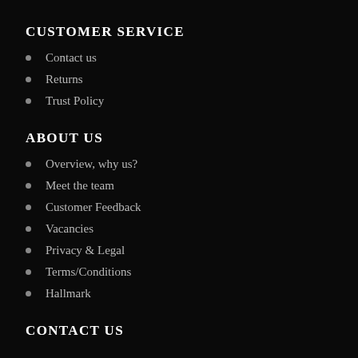CUSTOMER SERVICE
Contact us
Returns
Trust Policy
ABOUT US
Overview, why us?
Meet the team
Customer Feedback
Vacancies
Privacy & Legal
Terms/Conditions
Hallmark
CONTACT US